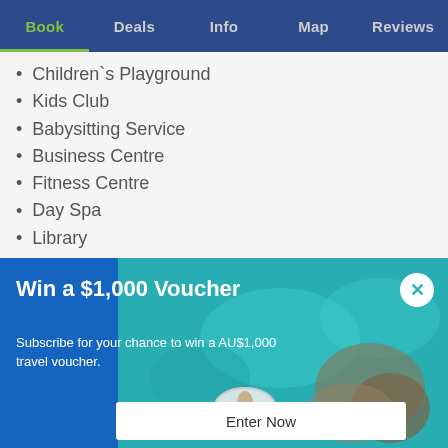Book | Deals | Info | Map | Reviews
Children`s Playground
Kids Club
Babysitting Service
Business Centre
Fitness Centre
Day Spa
Library
Games Room
Shopping Arcade
Shuttle Service to Beach
[Figure (infographic): Popup advertisement with teal ocean background photo showing person on inflatable ring. Blue left panel. White close button with X. Title: Win a $1,000 Voucher. Subtitle: Subscribe for your chance to win a AU$1,000 travel voucher. Enter Now button at bottom.]